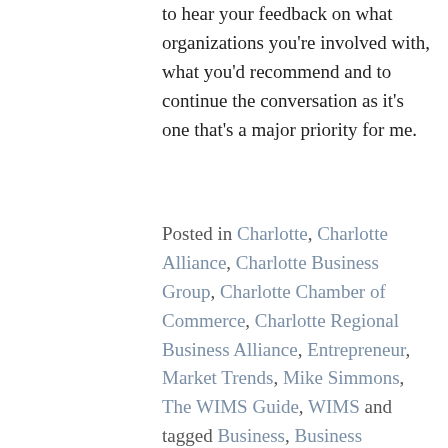to hear your feedback on what organizations you're involved with, what you'd recommend and to continue the conversation as it's one that's a major priority for me.
Posted in Charlotte, Charlotte Alliance, Charlotte Business Group, Charlotte Chamber of Commerce, Charlotte Regional Business Alliance, Entrepreneur, Market Trends, Mike Simmons, The WIMS Guide, WIMS and tagged Business, Business Development, CBG, CBJ, Charlotte, Charlotte Business Group, Charlotte Business Journal, Charlotte Chamber of Commerce, Charlotte Inno, Charlotte NC, Charlotte Region, Charlotte Regional Business Alliance, CLT, Consulting, Cornelius, Cornelius NC, Entrepreneur, Entrepreneurial Journey, Entrepreneurs, Fort Mill, Greater Charlotte, Lake Norman, Lead Generation, Market Trends, Marketing, Mike Simmons, Networking, PitchBreakfast, Queen City, Revenue, Rock Hill,